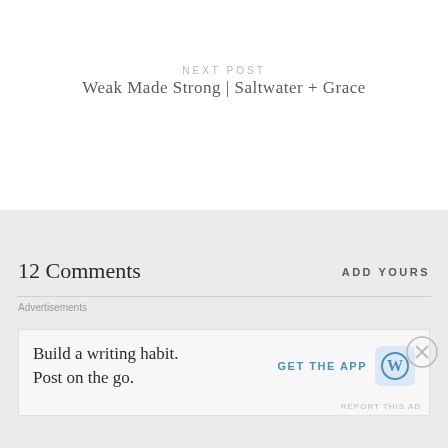NEXT POST
Weak Made Strong | Saltwater + Grace
12 Comments
ADD YOURS
Advertisements
Build a writing habit. Post on the go.
GET THE APP
REPORT THIS AD